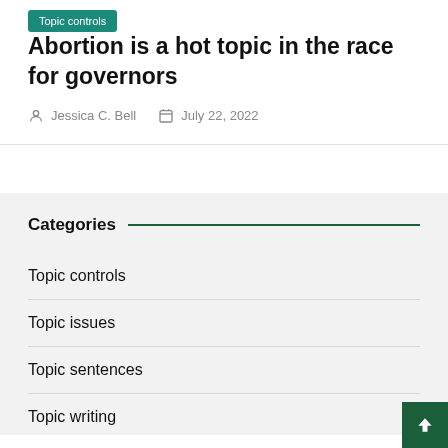Topic controls
Abortion is a hot topic in the race for governors
Jessica C. Bell   July 22, 2022
Categories
Topic controls
Topic issues
Topic sentences
Topic writing